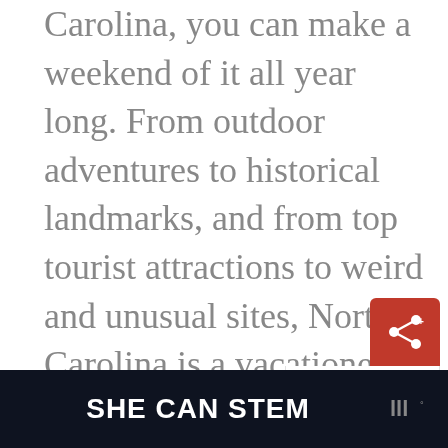Carolina, you can make a weekend of it all year long. From outdoor adventures to historical landmarks, and from top tourist attractions to weird and unusual sites, North Carolina is a vacationer's dreamland.
[Figure (screenshot): What's Next widget showing a share icon in red and a thumbnail link to 'DATE NIGHT ATLANTA: 7...']
[Figure (screenshot): Advertisement banner with dark background reading 'SHE CAN STEM' with a logo on the right]